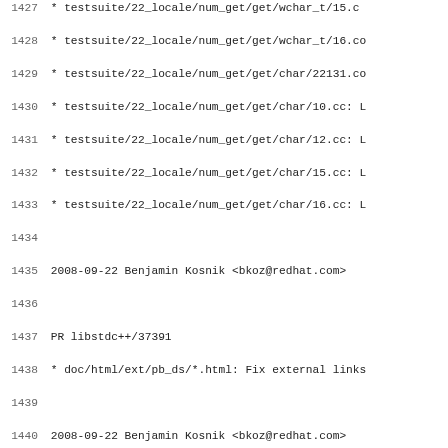Source code changelog/diff listing, lines 1427-1458, showing git log entries for GCC/libstdc++ repository changes dated 2008-09-19 to 2008-09-22 by Benjamin Kosnik, Paolo Carlini, and Johannes Singler.